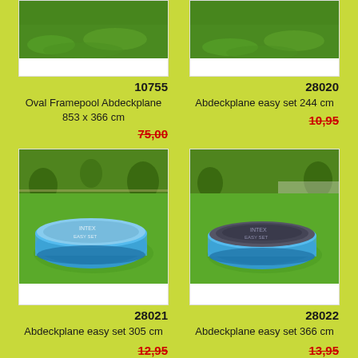[Figure (photo): Pool cover on grass (top cropped), product 10755]
10755
Oval Framepool Abdeckplane 853 x 366 cm
75,00
[Figure (photo): Pool cover on grass (top cropped), product 28020]
28020
Abdeckplane easy set 244 cm
10,95
[Figure (photo): Blue inflatable pool with light blue cover on green lawn, product 28021]
28021
Abdeckplane easy set 305 cm
12,95
[Figure (photo): Blue inflatable pool with dark grey cover on green lawn, product 28022]
28022
Abdeckplane easy set 366 cm
13,95